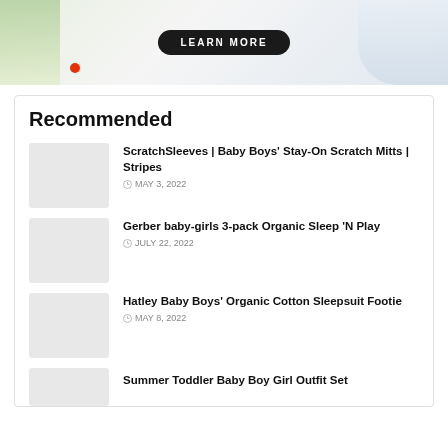[Figure (photo): Advertisement banner with plant, white bowl, tomato, and a 'LEARN MORE' button on dark pill background]
Recommended
ScratchSleeves | Baby Boys' Stay-On Scratch Mitts | Stripes — MAY 3, 2022
Gerber baby-girls 3-pack Organic Sleep 'N Play — JULY 22, 2022
Hatley Baby Boys' Organic Cotton Sleepsuit Footie — MAY 8, 2022
Summer Toddler Baby Boy Girl Outfit Set